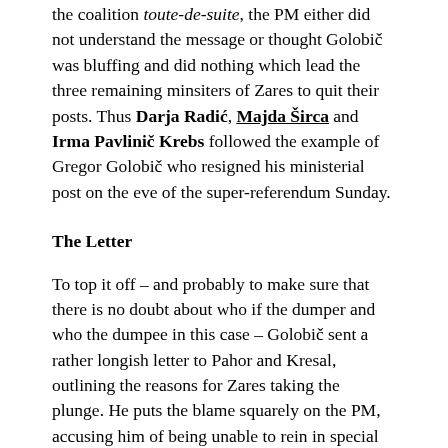the coalition toute-de-suite, the PM either did not understand the message or thought Golobič was bluffing and did nothing which lead the three remaining minsiters of Zares to quit their posts. Thus Darja Radić, Majda Širca and Irma Pavlinič Krebs followed the example of Gregor Golobič who resigned his ministerial post on the eve of the super-referendum Sunday.
The Letter
To top it off – and probably to make sure that there is no doubt about who if the dumper and who the dumpee in this case – Golobič sent a rather longish letter to Pahor and Kresal, outlining the reasons for Zares taking the plunge. He puts the blame squarely on the PM, accusing him of being unable to rein in special interests and bad practices which this government promised to uproot but failed to do so,